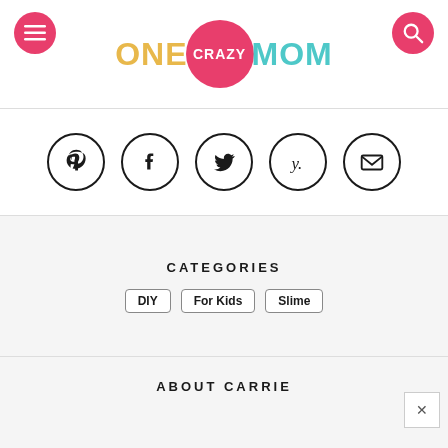[Figure (logo): One Crazy Mom logo with menu and search buttons. 'ONE' in gold/yellow, 'CRAZY' in white on pink circle, 'MOM' in teal. Two pink circular buttons for menu (hamburger) and search (magnifying glass).]
[Figure (infographic): Five social media icons in circles: Pinterest, Facebook, Twitter, Yummly, Email]
CATEGORIES
DIY
For Kids
Slime
ABOUT CARRIE